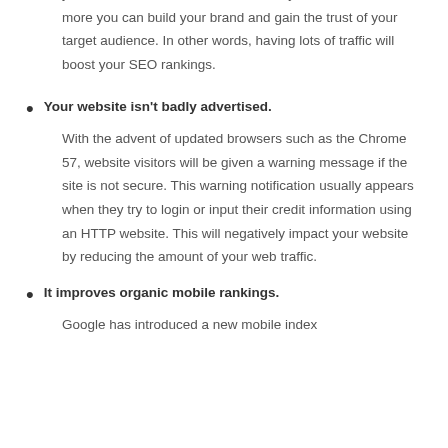you will have more visitors. The more you have visitors, the more you can build your brand and gain the trust of your target audience. In other words, having lots of traffic will boost your SEO rankings.
Your website isn't badly advertised. With the advent of updated browsers such as the Chrome 57, website visitors will be given a warning message if the site is not secure. This warning notification usually appears when they try to login or input their credit information using an HTTP website. This will negatively impact your website by reducing the amount of your web traffic.
It improves organic mobile rankings. Google has introduced a new mobile index